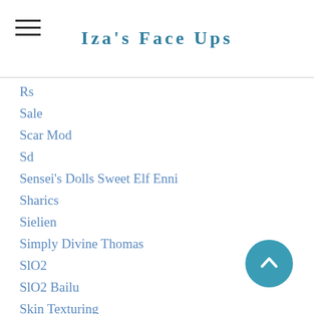Iza's Face Ups
Rs
Sale
Scar Mod
Sd
Sensei's Dolls Sweet Elf Enni
Sharics
Sielien
Simply Divine Thomas
SlO2
SlO2 Bailu
Skin Texturing
Skull
Smart Doll
Smart Doll Cortex
Smart Doll Envisage
Smiling Doll
Soom